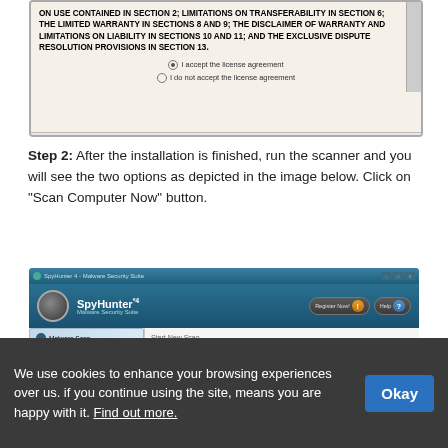[Figure (screenshot): Screenshot of a software license agreement installer dialog showing bold text about limitations on transferability, warranty sections, with radio buttons for accepting/declining the license agreement, and Next/Cancel buttons at the bottom.]
Step 2: After the installation is finished, run the scanner and you will see the two options as depicted in the image below. Click on “Scan Computer Now” button.
[Figure (screenshot): Screenshot of SpyHunter 4 Malware Security Suite application showing the main interface with sidebar menu items including Malware Scan, Start New Scan, Custom Scan, Disabled Programs, Backup, and a main content area with a scan interface.]
We use cookies to enhance your browsing experiences over us. if you continue using the site, means you are happy with it. Find out more.